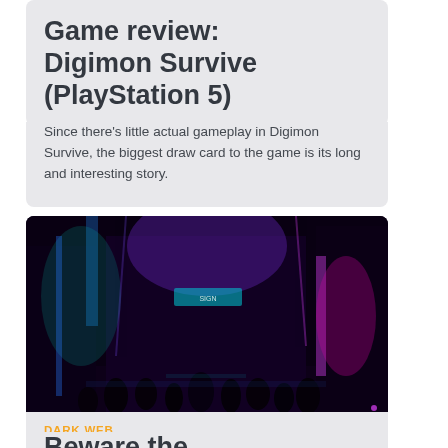Game review: Digimon Survive (PlayStation 5)
Since there's little actual gameplay in Digimon Survive, the biggest draw card to the game is its long and interesting story.
[Figure (photo): A dark cyberpunk city street scene with neon purple, blue, and pink lights illuminating tall buildings and a crowd of silhouetted people walking through the alley]
DARK WEB
Beware the darkverse and its